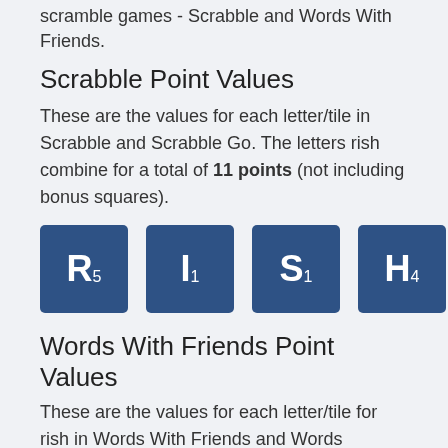scramble games - Scrabble and Words With Friends.
Scrabble Point Values
These are the values for each letter/tile in Scrabble and Scrabble Go. The letters rish combine for a total of 11 points (not including bonus squares).
[Figure (infographic): Four Scrabble tiles: R5, I1, S1, H4 displayed as blue square tiles with letter and subscript score]
Words With Friends Point Values
These are the values for each letter/tile for rish in Words With Friends and Words